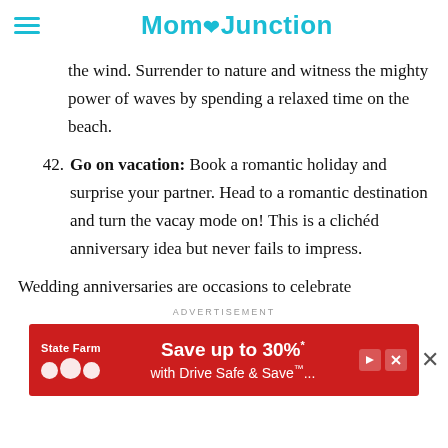MomJunction
the wind. Surrender to nature and witness the mighty power of waves by spending a relaxed time on the beach.
42. Go on vacation: Book a romantic holiday and surprise your partner. Head to a romantic destination and turn the vacay mode on! This is a clichéd anniversary idea but never fails to impress.
Wedding anniversaries are occasions to celebrate
[Figure (screenshot): State Farm advertisement banner: red background with State Farm logo (three white circles and 'State Farm' text), copy reading 'Save up to 30%* with Drive Safe & Save™...' The ad label 'ADVERTISEMENT' appears above and a close (×) button appears to the right.]